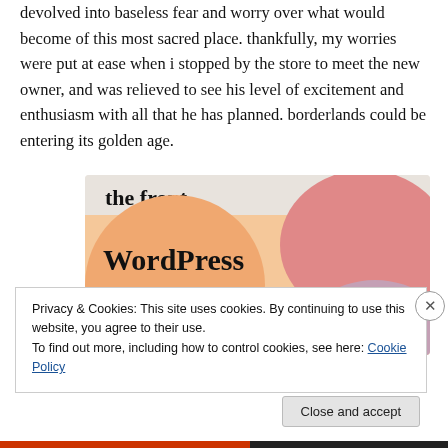devolved into baseless fear and worry over what would become of this most sacred place. thankfully, my worries were put at ease when i stopped by the store to meet the new owner, and was relieved to see his level of excitement and enthusiasm with all that he has planned. borderlands could be entering its golden age.
[Figure (infographic): Advertisement banner with text 'the front...' at top and 'WordPress in the back.' in bold large serif font on peach/orange background with decorative circles in pink and mauve]
Privacy & Cookies: This site uses cookies. By continuing to use this website, you agree to their use.
To find out more, including how to control cookies, see here: Cookie Policy
Close and accept